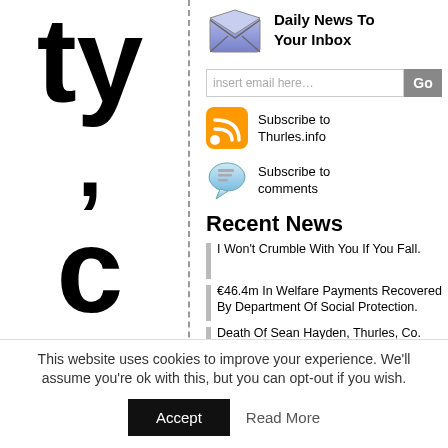ty , C a s h e l , C
[Figure (illustration): Envelope icon for newsletter signup]
Daily News To Your Inbox
insert email here…
[Figure (illustration): RSS feed icon for Subscribe to Thurles.info]
Subscribe to Thurles.info
[Figure (illustration): Comment bubble icon for Subscribe to comments]
Subscribe to comments
Recent News
I Won't Crumble With You If You Fall.
€46.4m In Welfare Payments Recovered By Department Of Social Protection.
Death Of Sean Hayden, Thurles, Co. Tipperary.
Youthful Friends.
Cannabis Grow House…
This website uses cookies to improve your experience. We'll assume you're ok with this, but you can opt-out if you wish.
Accept
Read More